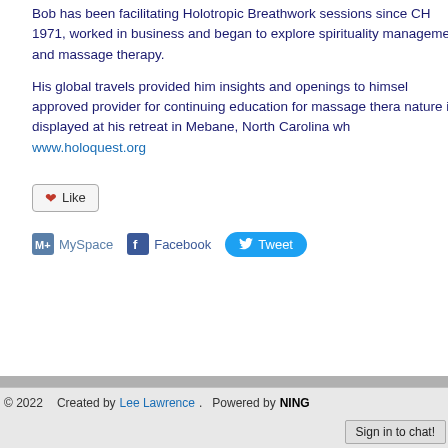Bob has been facilitating Holotropic Breathwork sessions since CH 1971, worked in business and began to explore spirituality management and massage therapy.
His global travels provided him insights and openings to himself, approved provider for continuing education for massage therapy, nature is displayed at his retreat in Mebane, North Carolina whe www.holoquest.org
[Figure (other): Like button with heart icon]
[Figure (other): Social sharing buttons: MySpace, Facebook, Tweet]
© 2022   Created by Lee Lawrence.   Powered by NING   Sign in to chat!